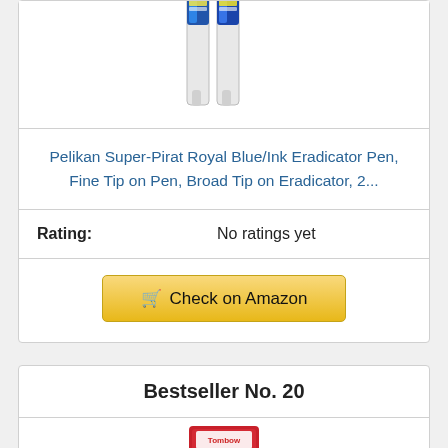[Figure (photo): Two Pelikan Super-Pirat pens/eradicators standing upright, partially cropped at top]
Pelikan Super-Pirat Royal Blue/Ink Eradicator Pen, Fine Tip on Pen, Broad Tip on Eradicator, 2...
Rating: No ratings yet
🛒 Check on Amazon
Bestseller No. 20
[Figure (photo): Tombow Mono eraser product box, red packaging, partially cropped at bottom]